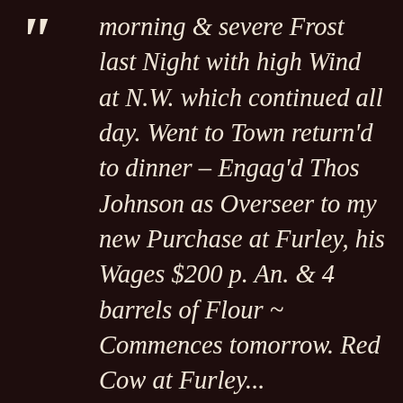morning & severe Frost last Night with high Wind at N.W. which continued all day. Went to Town return'd to dinner – Engag'd Thos Johnson as Overseer to my new Purchase at Furley, his Wages $200 p. An. & 4 barrels of Flour ~ Commences tomorrow. Red Cow at Furley...